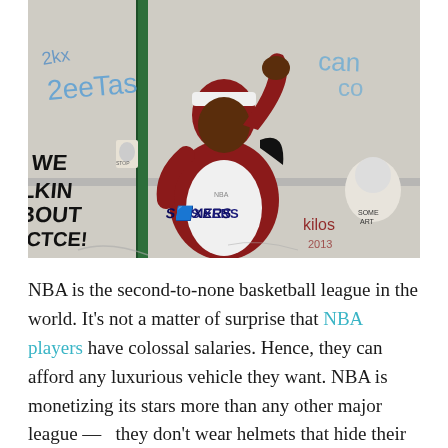[Figure (photo): Street art / graffiti mural on a concrete wall showing a basketball player in a Philadelphia 76ers (SIXERS) jersey making a gesture. Surrounding graffiti text includes 'WE TALKIN BOUT PRACTICE!' on the left side. Additional graffiti tags and a smaller character illustration are visible on the right. A green pole is in the foreground.]
NBA is the second-to-none basketball league in the world. It's not a matter of surprise that NBA players have colossal salaries. Hence, they can afford any luxurious vehicle they want. NBA is monetizing its stars more than any other major league —  they don't wear helmets that hide their faces from the cameras